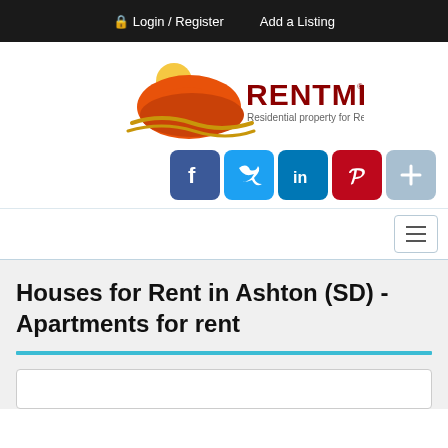Login / Register   Add a Listing
[Figure (logo): RENTMLS logo with orange house/sun graphic and text 'Residential property for Rent']
[Figure (infographic): Social sharing buttons: Facebook, Twitter, LinkedIn, Pinterest, and a plus button]
[Figure (screenshot): Navigation bar with hamburger menu icon on the right]
Houses for Rent in Ashton (SD) - Apartments for rent